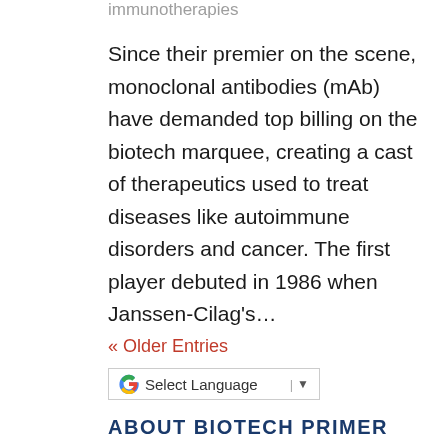immunotherapies
Since their premier on the scene, monoclonal antibodies (mAb) have demanded top billing on the biotech marquee, creating a cast of therapeutics used to treat diseases like autoimmune disorders and cancer. The first player debuted in 1986 when Janssen-Cilag's…
« Older Entries
[Figure (other): Google Translate widget with 'Select Language' dropdown]
ABOUT BIOTECH PRIMER
From startups to the Fortune 500, we train employees at companies of all sizes. We